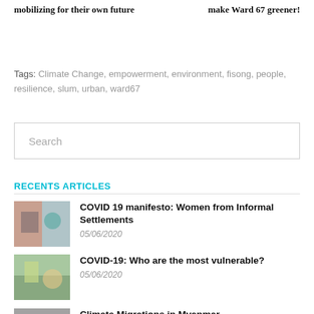mobilizing for their own future
make Ward 67 greener!
Tags: Climate Change, empowerment, environment, fisong, people, resilience, slum, urban, ward67
Search
RECENTS ARTICLES
COVID 19 manifesto: Women from Informal Settlements
05/06/2020
COVID-19: Who are the most vulnerable?
05/06/2020
Climate Migrations in Myanmar
05/06/2020